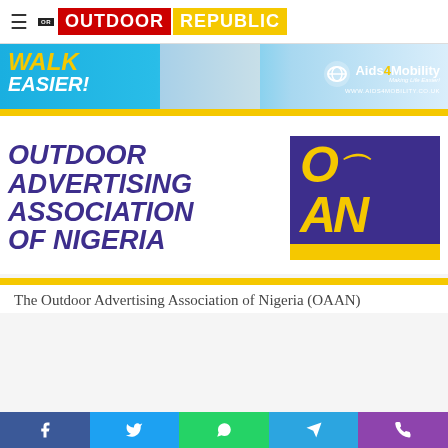OUTDOOR REPUBLIC
[Figure (illustration): Aids4Mobility advertisement banner showing 'WALK EASIER!' text with a hand holding a walking aid, and Aids4Mobility logo with website www.aids4mobility.co.uk]
[Figure (logo): Outdoor Advertising Association of Nigeria (OAAN) logo — bold italic dark blue text on left, dark blue rectangle with yellow OAAN text on right, yellow bar below]
The Outdoor Advertising Association of Nigeria (OAAN)